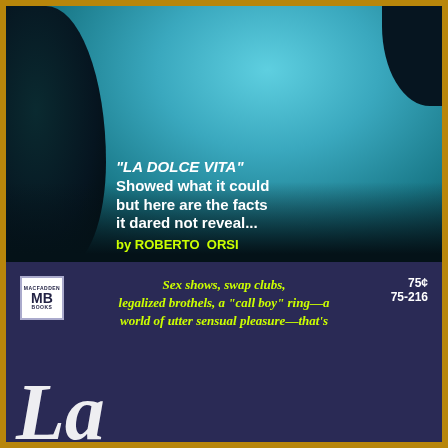[Figure (illustration): Blue-tinted close-up portrait of a woman's face with dark hair, forming the background of the top section of a book cover]
"LA DOLCE VITA" Showed what it could but here are the facts it dared not reveal...
by ROBERTO ORSI
[Figure (logo): Macfadden Books MB logo in white square with border]
75¢ 75-216
Sex shows, swap clubs, legalized brothels, a "call boy" ring—a world of utter sensual pleasure—that's